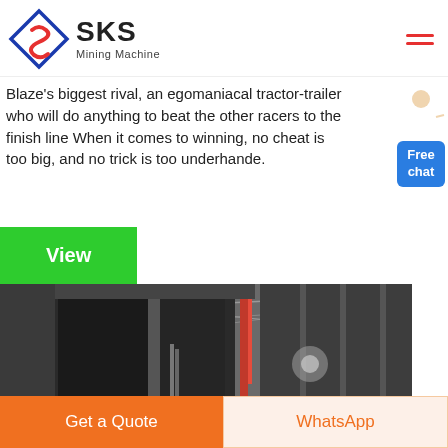[Figure (logo): SKS Mining Machine logo with diamond-shaped icon containing an S, and text 'SKS Mining Machine']
Blaze's biggest rival, an egomaniacal tractor-trailer who will do anything to beat the other racers to the finish line When it comes to winning, no cheat is too big, and no trick is too underhande.
[Figure (photo): Industrial machinery photo showing heavy equipment in a warehouse or factory setting, with dark metal frames and cables.]
View
Get a Quote
WhatsApp